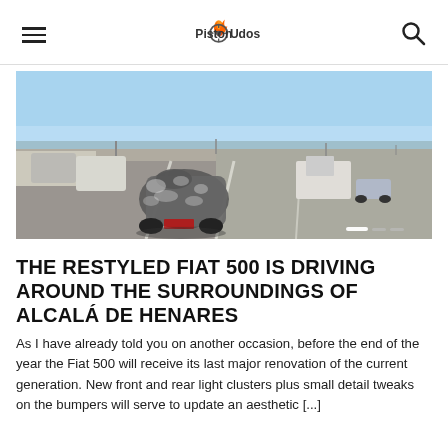PistonUdos
[Figure (photo): Camouflaged Fiat 500 prototype driving on a highway near Alcalá de Henares, shot from behind showing spy camouflage wrap, with other traffic visible including trucks and cars, blue sky overhead.]
THE RESTYLED FIAT 500 IS DRIVING AROUND THE SURROUNDINGS OF ALCALÁ DE HENARES
As I have already told you on another occasion, before the end of the year the Fiat 500 will receive its last major renovation of the current generation. New front and rear light clusters plus small detail tweaks on the bumpers will serve to update an aesthetic [...]